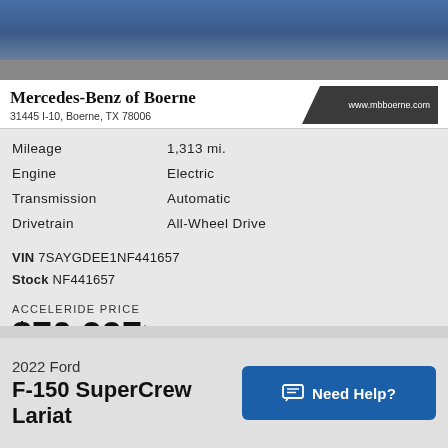[Figure (photo): Top portion of a blue car against a gray background]
Mercedes-Benz of Boerne
31445 I-10, Boerne, TX 78006
www.mbboerne.com
| Mileage | 1,313 mi. |
| Engine | Electric |
| Transmission | Automatic |
| Drivetrain | All-Wheel Drive |
VIN 7SAYGDEE1NF441657
Stock NF441657
ACCELERIDE PRICE
$70,997*
at Mercedes-Benz of Boerne
2022 Ford
F-150 SuperCrew Lariat
Need Help?